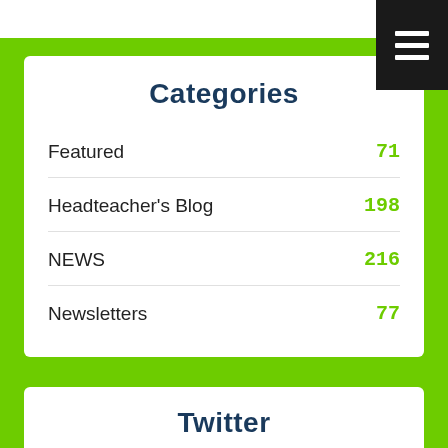[Figure (other): Hamburger menu button (black square with three white horizontal lines) in top-right corner]
Categories
Featured  71
Headteacher's Blog  198
NEWS  216
Newsletters  77
Twitter
Tweets from  Follow